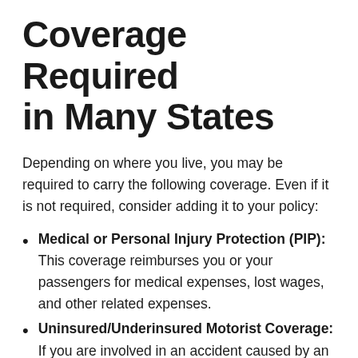Coverage Required in Many States
Depending on where you live, you may be required to carry the following coverage. Even if it is not required, consider adding it to your policy:
Medical or Personal Injury Protection (PIP): This coverage reimburses you or your passengers for medical expenses, lost wages, and other related expenses.
Uninsured/Underinsured Motorist Coverage: If you are involved in an accident caused by an uninsured or underinsured driver, this coverage will reimburse your costs. It also applies in the